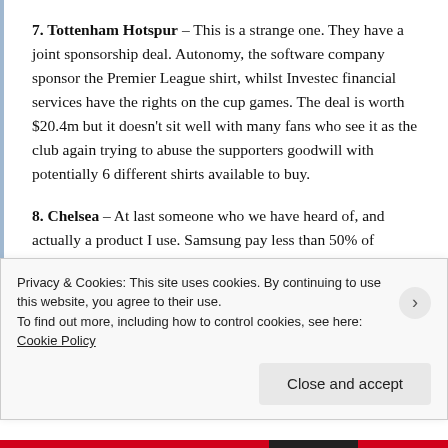7. Tottenham Hotspur – This is a strange one. They have a joint sponsorship deal. Autonomy, the software company sponsor the Premier League shirt, whilst Investec financial services have the rights on the cup games. The deal is worth $20.4m but it doesn't sit well with many fans who see it as the club again trying to abuse the supporters goodwill with potentially 6 different shirts available to buy.
8. Chelsea – At last someone who we have heard of, and actually a product I use. Samsung pay less than 50% of United's shirt deal but potentially get almost as much exposure. A great deal for the electronics company
Privacy & Cookies: This site uses cookies. By continuing to use this website, you agree to their use.
To find out more, including how to control cookies, see here: Cookie Policy